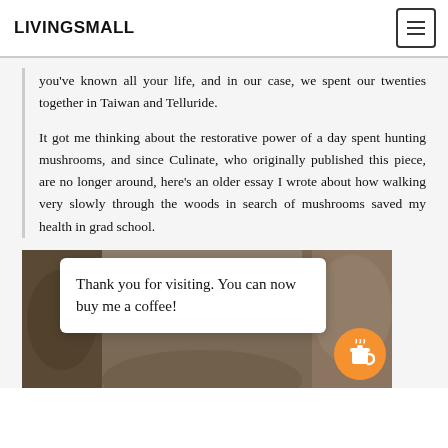LIVINGSMALL
you've known all your life, and in our case, we spent our twenties together in Taiwan and Telluride.
It got me thinking about the restorative power of a day spent hunting mushrooms, and since Culinate, who originally published this piece, are no longer around, here's an older essay I wrote about how walking very slowly through the woods in search of mushrooms saved my health in grad school.
[Figure (photo): Photo of mushrooms or forest scene with a popup card overlay reading 'Thank you for visiting. You can now buy me a coffee!' and an orange circular coffee cup button on the right]
Thank you for visiting. You can now buy me a coffee!